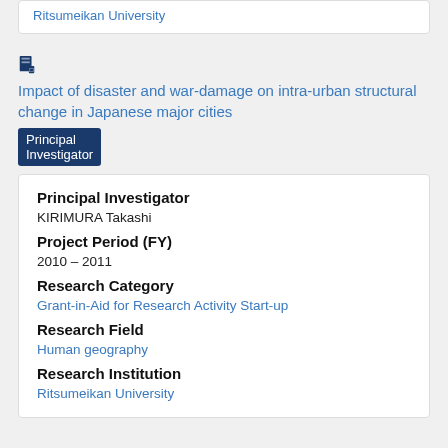Ritsumeikan University
Impact of disaster and war-damage on intra-urban structural change in Japanese major cities  Principal Investigator
Principal Investigator
KIRIMURA Takashi
Project Period (FY)
2010 – 2011
Research Category
Grant-in-Aid for Research Activity Start-up
Research Field
Human geography
Research Institution
Ritsumeikan University